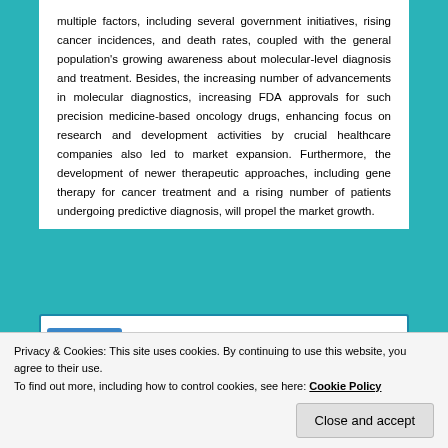multiple factors, including several government initiatives, rising cancer incidences, and death rates, coupled with the general population's growing awareness about molecular-level diagnosis and treatment. Besides, the increasing number of advancements in molecular diagnostics, increasing FDA approvals for such precision medicine-based oncology drugs, enhancing focus on research and development activities by crucial healthcare companies also led to market expansion. Furthermore, the development of newer therapeutic approaches, including gene therapy for cancer treatment and a rising number of patients undergoing predictive diagnosis, will propel the market growth.
[Figure (screenshot): Partial screenshot of a report page showing a research report header with navigation tabs and title about Global Cancer Precision Medicine Market.]
Privacy & Cookies: This site uses cookies. By continuing to use this website, you agree to their use.
To find out more, including how to control cookies, see here: Cookie Policy